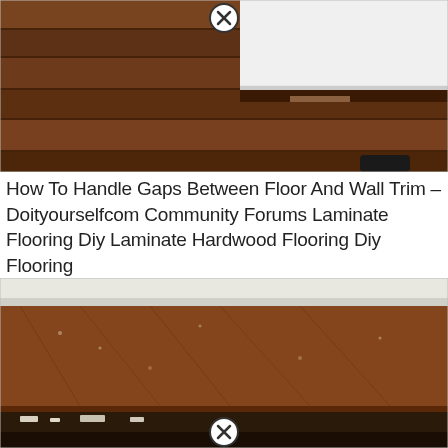[Figure (photo): Close-up photo of a gap between a wooden floor and white wall trim/appliance base. The floor shows brown hardwood planks with a visible gap at the wall edge.]
How To Handle Gaps Between Floor And Wall Trim – Doityourselfcom Community Forums Laminate Flooring Diy Laminate Hardwood Flooring Diy Flooring
[Figure (photo): Close-up photo of a brown laminate or hardwood floor plank edge showing a gap at the bottom near a wall, with debris visible in the gap.]